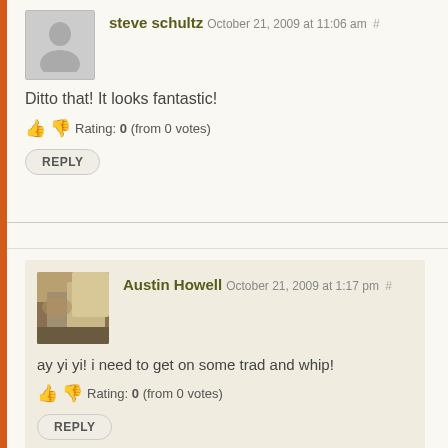steve schultz October 21, 2009 at 11:06 am #
Ditto that! It looks fantastic!
Rating: 0 (from 0 votes)
REPLY
Austin Howell October 21, 2009 at 1:17 pm #
ay yi yi! i need to get on some trad and whip!
Rating: 0 (from 0 votes)
REPLY